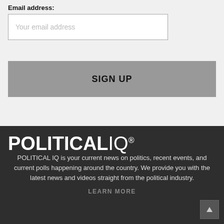Email address:
Your email address
SIGN UP
POLITICAL IQ®
POLITICAL IQ is your current news on politics, recent events, and current polls happening around the country. We provide you with the latest news and videos straight from the political industry.
LEARN MORE